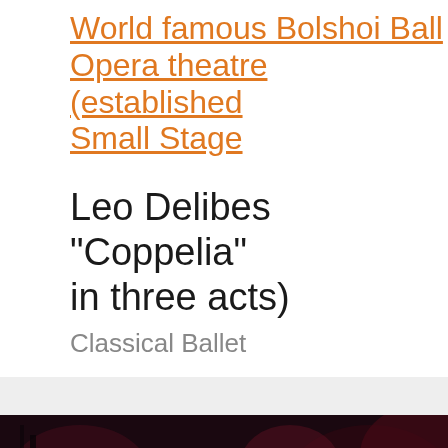World famous Bolshoi Ballet Opera theatre (established Small Stage
Leo Delibes "Coppelia" in three acts)
Classical Ballet
[Figure (photo): Dark theatrical stage photo with date overlay: 12 February 2022 17:00]